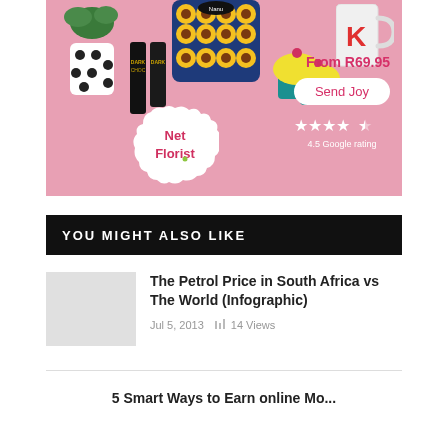[Figure (photo): Net Florist advertisement banner with pink background showing gifts: polka dot plant pot, chocolate bars, sunflower pattern bag, yellow cupcakes, white mug. Shows 'From R69.95', 'Send Joy' button, 4.5 Google rating stars, and Net Florist logo.]
YOU MIGHT ALSO LIKE
The Petrol Price in South Africa vs The World (Infographic)
Jul 5, 2013   14 Views
5 Smart Ways to Earn online Mo...